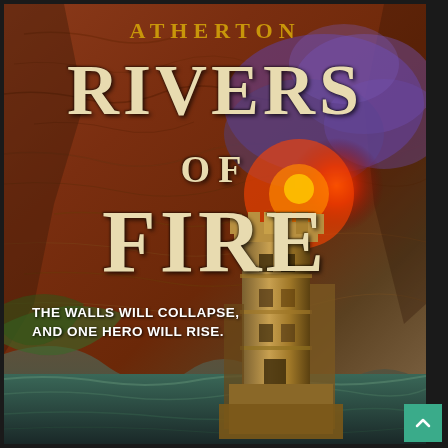[Figure (illustration): Book cover for 'Atherton: Rivers of Fire'. Dramatic fantasy illustration showing a tall stone tower standing in turbulent water against a backdrop of a massive red-orange cliff face with glowing fire/lava and dark purple smoke in the background.]
ATHERTON
RIVERS OF FIRE
THE WALLS WILL COLLAPSE, AND ONE HERO WILL RISE.